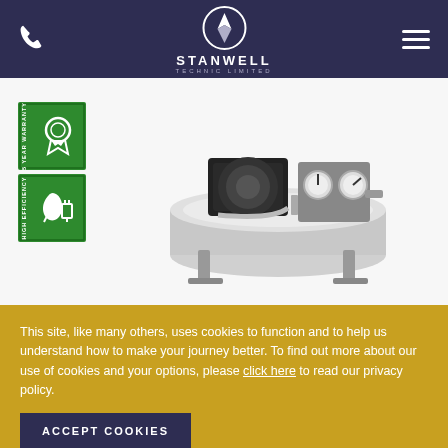STANWELL TECHNIC LIMITED
[Figure (logo): Stanwell Technic Limited logo with circular emblem on dark navy header]
[Figure (illustration): 5 YEAR WARRANTY badge - green square badge with award ribbon icon]
[Figure (illustration): HIGH EFFICIENCY badge - green square badge with leaf and plug icon]
[Figure (photo): Industrial air compressor with stainless steel tank, black motor unit, and pressure gauges]
This site, like many others, uses cookies to function and to help us understand how to make your journey better. To find out more about our use of cookies and your options, please click here to read our privacy policy.
ACCEPT COOKIES